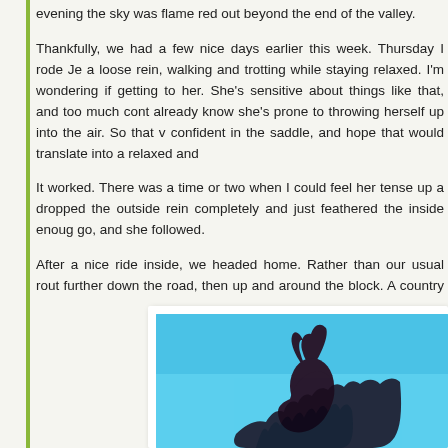evening the sky was flame red out beyond the end of the valley.
Thankfully, we had a few nice days earlier this week. Thursday I rode Je a loose rein, walking and trotting while staying relaxed. I'm wondering if getting to her. She's sensitive about things like that, and too much cont already know she's prone to throwing herself up into the air. So that v confident in the saddle, and hope that would translate into a relaxed and
It worked. There was a time or two when I could feel her tense up a dropped the outside rein completely and just feathered the inside enoug go, and she followed.
After a nice ride inside, we headed home. Rather than our usual rout further down the road, then up and around the block. A country block, t true Jet fashion, she stepped right out like the curious explorer she is. W up and relaxed. It was a very nice ride, one I hope we can build on.
[Figure (photo): A dark horse silhouette (appearing to be a horse's head/ears) against a bright blue sky background, with what appears to be a mane or foliage at the bottom.]